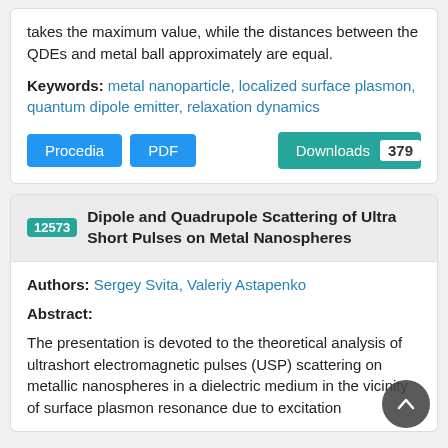takes the maximum value, while the distances between the QDEs and metal ball approximately are equal.
Keywords: metal nanoparticle, localized surface plasmon, quantum dipole emitter, relaxation dynamics
Procedia  PDF  Downloads 379
12573 Dipole and Quadrupole Scattering of Ultra Short Pulses on Metal Nanospheres
Authors: Sergey Svita, Valeriy Astapenko
Abstract:
The presentation is devoted to the theoretical analysis of ultrashort electromagnetic pulses (USP) scattering on metallic nanospheres in a dielectric medium in the vicinity of surface plasmon resonance due to excitation